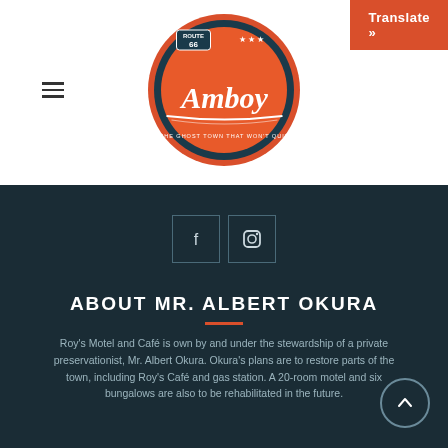[Figure (logo): Amboy circular logo with orange/red/dark blue retro design and script text 'Amboy' with tagline 'The Ghost Town That Won't Quit']
Translate »
[Figure (other): Hamburger menu icon (three horizontal lines)]
[Figure (other): Facebook and Instagram social media icon boxes with white icons on dark teal background]
ABOUT MR. ALBERT OKURA
Roy's Motel and Café is own by and under the stewardship of a private preservationist, Mr. Albert Okura. Okura's plans are to restore parts of the town, including Roy's Café and gas station. A 20-room motel and six bungalows are also to be rehabilitated in the future.